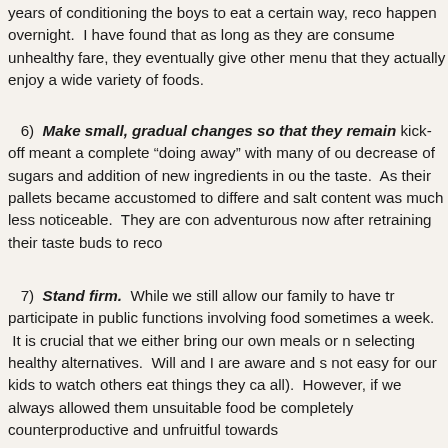years of conditioning the boys to eat a certain way, reco happen overnight. I have found that as long as they are consume unhealthy fare, they eventually give other menu that they actually enjoy a wide variety of foods.
6) Make small, gradual changes so that they remain kick-off meant a complete “doing away” with many of ou decrease of sugars and addition of new ingredients in ou the taste. As their pallets became accustomed to differe and salt content was much less noticeable. They are con adventurous now after retraining their taste buds to reco
7) Stand firm. While we still allow our family to have tr participate in public functions involving food sometimes a week. It is crucial that we either bring our own meals or n selecting healthy alternatives. Will and I are aware and s not easy for our kids to watch others eat things they ca all). However, if we always allowed them unsuitable food be completely counterproductive and unfruitful towards